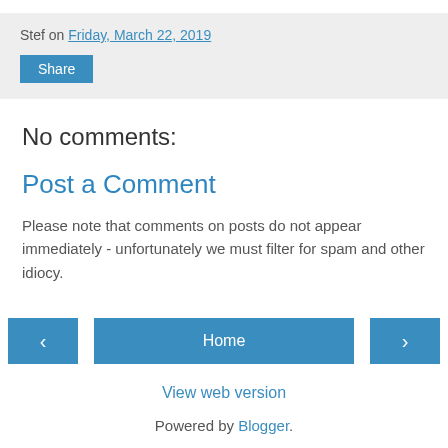Stef on Friday, March 22, 2019
Share
No comments:
Post a Comment
Please note that comments on posts do not appear immediately - unfortunately we must filter for spam and other idiocy.
‹
Home
›
View web version
Powered by Blogger.